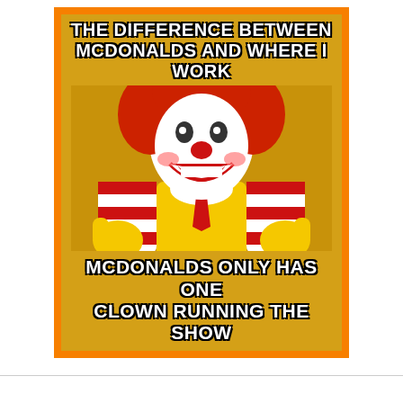[Figure (illustration): Meme image featuring Ronald McDonald clown character giving two thumbs up, with orange border background. Top text reads 'THE DIFFERENCE BETWEEN MCDONALDS AND WHERE I WORK' and bottom text reads 'MCDONALDS ONLY HAS ONE CLOWN RUNNING THE SHOW'.]